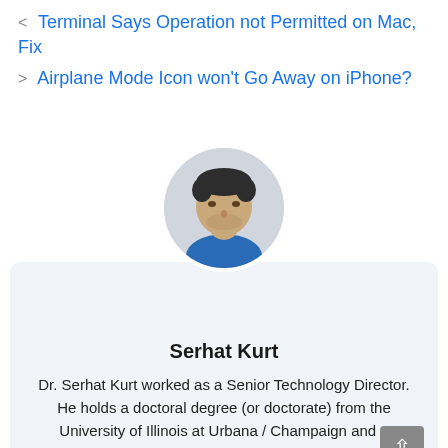< Terminal Says Operation not Permitted on Mac, Fix
> Airplane Mode Icon won't Go Away on iPhone?
[Figure (photo): Circular profile photo of Serhat Kurt, a man with dark hair and a beard wearing a blue jacket, shown against a light gray circular background.]
Serhat Kurt
Dr. Serhat Kurt worked as a Senior Technology Director. He holds a doctoral degree (or doctorate) from the University of Illinois at Urbana / Champaign and a master's degree from